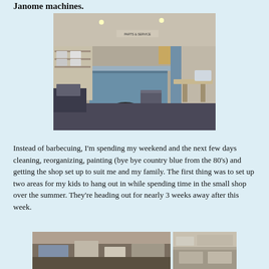Janome machines.
[Figure (photo): Interior of a sewing machine shop with blue counter, sewing machines on shelves and tables, chairs, and a stool on the floor.]
Instead of barbecuing, I'm spending my weekend and the next few days cleaning, reorganizing, painting (bye bye country blue from the 80's) and getting the shop set up to suit me and my family. The first thing was to set up two areas for my kids to hang out in while spending time in the small shop over the summer. They're heading out for nearly 3 weeks away after this week.
[Figure (photo): Two partially visible photos at the bottom of the page showing shop interior items and supplies.]